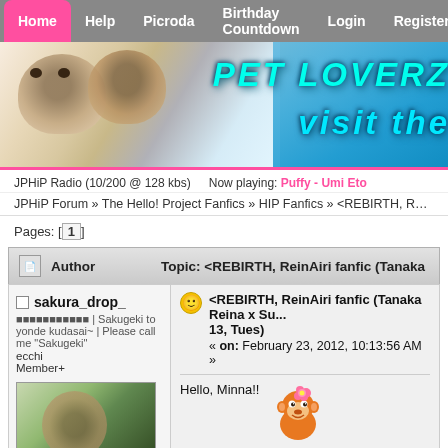Home | Help | Picroda | Birthday Countdown | Login | Register
[Figure (photo): Pet Loverz website banner with animals and cyan text reading 'PET LOVERZ visit the']
JPHiP Radio (10/200 @ 128 kbs) Now playing: Puffy - Umi Eto
JPHiP Forum » The Hello! Project Fanfics » HIP Fanfics » <REBIRTH, ReinAiri fanfic (Tanaka Rein...
Pages: [1]
| Author | Topic: <REBIRTH, ReinAiri fanfic (Tanaka Reina... |
| --- | --- |
| sakura_drop_
| Sakugeki to yonde kudasai~ | Please call me "Sakugeki"
ecchi
Member+ | <REBIRTH, ReinAiri fanfic (Tanaka Reina x Su... 13, Tues)
« on: February 23, 2012, 10:13:56 AM »

Hello, Minna!! |
[Figure (illustration): Cute orange monkey emoji with a pink flower on its head]
[Figure (photo): Avatar photo of sakura_drop_ user, showing a person outdoors]